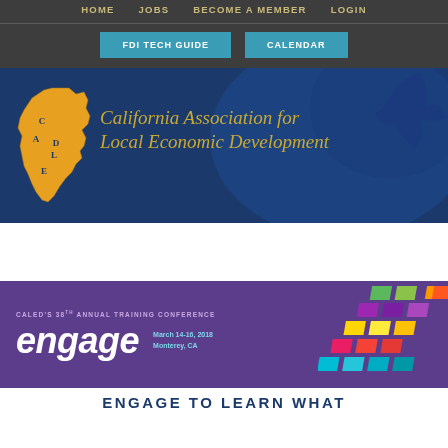HOME   JOBS   BECOME A MEMBER   LOGIN
FDI TECH GUIDE   CALENDAR
[Figure (logo): CALED - California Association for Local Economic Development logo with California state outline in gold]
[Figure (infographic): CALED's 38th Annual Training Conference - engage - March 14-16, 2018 Monterey, CA - colorful chevron pattern on right]
ENGAGE TO LEARN WHAT